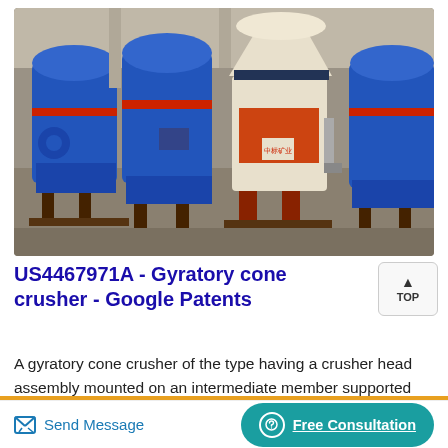[Figure (photo): Industrial photo of large blue gyratory cone crusher machines in a factory, with one cream/beige and orange crusher prominently in the center-right foreground, all mounted on steel frames on a concrete floor.]
US4467971A - Gyratory cone crusher - Google Patents
A gyratory cone crusher of the type having a crusher head assembly mounted on an intermediate member supported for rotary motion and of the gyrat...